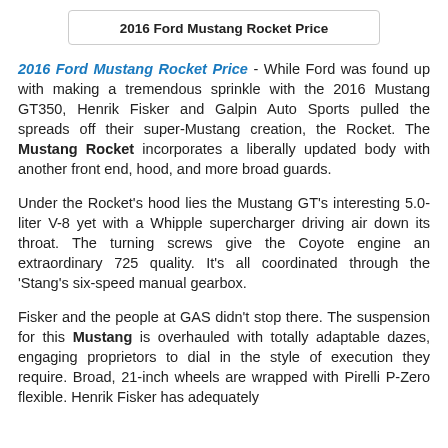2016 Ford Mustang Rocket Price
2016 Ford Mustang Rocket Price - While Ford was found up with making a tremendous sprinkle with the 2016 Mustang GT350, Henrik Fisker and Galpin Auto Sports pulled the spreads off their super-Mustang creation, the Rocket. The Mustang Rocket incorporates a liberally updated body with another front end, hood, and more broad guards.
Under the Rocket's hood lies the Mustang GT's interesting 5.0-liter V-8 yet with a Whipple supercharger driving air down its throat. The turning screws give the Coyote engine an extraordinary 725 quality. It's all coordinated through the 'Stang's six-speed manual gearbox.
Fisker and the people at GAS didn't stop there. The suspension for this Mustang is overhauled with totally adaptable dazes, engaging proprietors to dial in the style of execution they require. Broad, 21-inch wheels are wrapped with Pirelli P-Zero flexible. Henrik Fisker has adequately